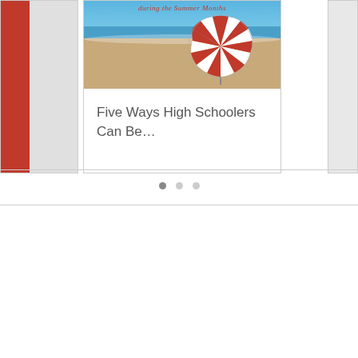[Figure (screenshot): Website carousel showing a blog card with beach photo featuring a red-and-white striped umbrella, with script title text 'during the Summer Months' in red cursive, partially visible red card on the left, and partially visible gray card on the right]
Five Ways High Schoolers Can Be...
[Figure (infographic): Carousel pagination indicator with three dots: first dot dark/active, second and third dots light/inactive]